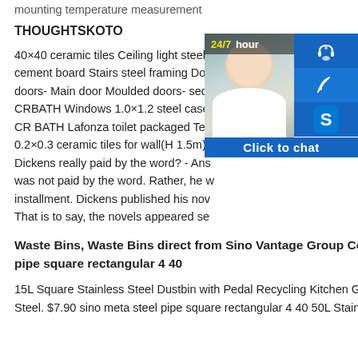mounting temperature measurement
THOUGHTSKOTO
40×40 ceramic tiles Ceiling light steel framing in 4.5 fi cement board Stairs steel framing Doo doors- Main door Moulded doors- seco CRBATH Windows 1.0×1.2 steel case CR BATH Lafonza toilet packaged Tele 0.2×0.3 ceramic tiles for wall(H 1.5m) Dickens really paid by the word? - Ans was not paid by the word. Rather, he w installment. Dickens published his nov That is to say, the novels appeared se
[Figure (screenshot): 24/7 hour customer service chat widget with agent photo and contact icons (headset, phone, Skype) and Click to chat button]
Waste Bins, Waste Bins direct from Sino Vantage Group Co sino meta steel pipe square rectangular 4 40
15L Square Stainless Steel Dustbin with Pedal Recycling Kitchen Garbage Bin. Stainless Steel. $7.90 sino meta steel pipe square rectangular 4 40 50L Stainless Steel